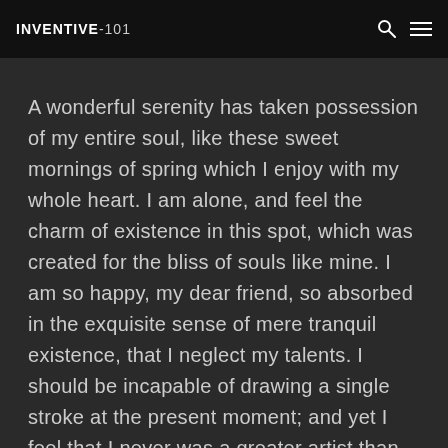INVENTIVE-101
A wonderful serenity has taken possession of my entire soul, like these sweet mornings of spring which I enjoy with my whole heart. I am alone, and feel the charm of existence in this spot, which was created for the bliss of souls like mine. I am so happy, my dear friend, so absorbed in the exquisite sense of mere tranquil existence, that I neglect my talents. I should be incapable of drawing a single stroke at the present moment; and yet I feel that I never was a greater artist than now. When, while the lovely valley teems with